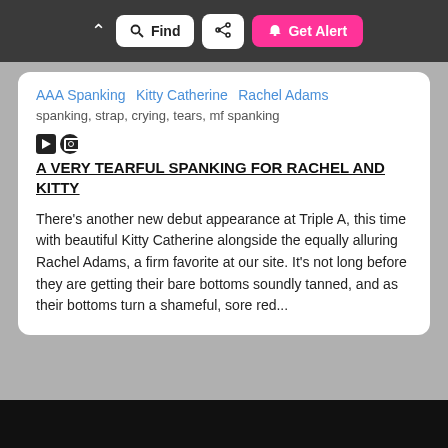^ Find Share Get Alert
AAA Spanking  Kitty Catherine  Rachel Adams
spanking, strap, crying, tears, mf spanking
A VERY TEARFUL SPANKING FOR RACHEL AND KITTY
There's another new debut appearance at Triple A, this time with beautiful Kitty Catherine alongside the equally alluring Rachel Adams, a firm favorite at our site. It's not long before they are getting their bare bottoms soundly tanned, and as their bottoms turn a shameful, sore red...